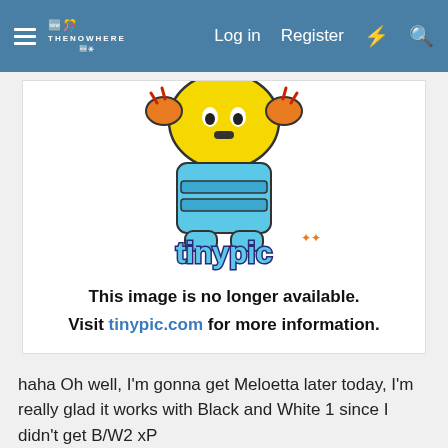Log in  Register
[Figure (screenshot): Tinypic image placeholder showing: cartoon character (yellow head with orange ears, blue body) above the tinypic logo. Text reads: This image is no longer available. Visit tinypic.com for more information.]
haha Oh well, I'm gonna get Meloetta later today, I'm really glad it works with Black and White 1 since I didn't get B/W2 xP
Arausio
Celtic God of Water
Mar 5, 2013  #14